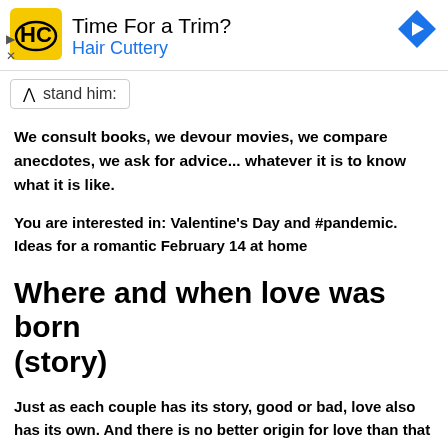[Figure (other): Hair Cuttery advertisement banner with logo, title 'Time For a Trim?', subtitle 'Hair Cuttery', navigation arrow icon, and ad controls (triangle and X icons)]
stand him:
We consult books, we devour movies, we compare anecdotes, we ask for advice... whatever it is to know what it is like.
You are interested in: Valentine's Day and #pandemic. Ideas for a romantic February 14 at home
Where and when love was born (story)
Just as each couple has its story, good or bad, love also has its own. And there is no better origin for love than that of the old